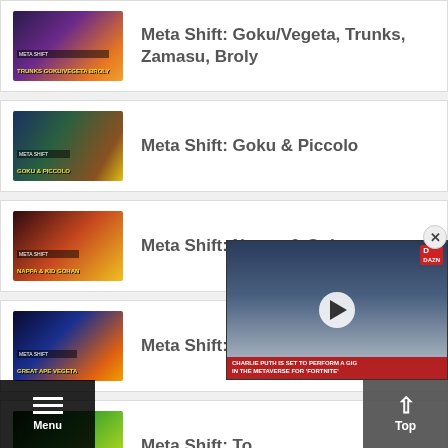Meta Shift: Goku/Vegeta, Trunks, Zamasu, Broly
Meta Shift: Goku & Piccolo
Meta Shift: Nappa & Gohan
Meta Shift: Ve...
Meta Shift: To...
[Figure (screenshot): Video player overlay showing a performer at a microphone with text 'CHARLIE PUTH IS SET TO PERFORM A GIG IN THE METAVERSE FOR FORTNITE'. Red logo top right. Play button in center.]
Menu
Top